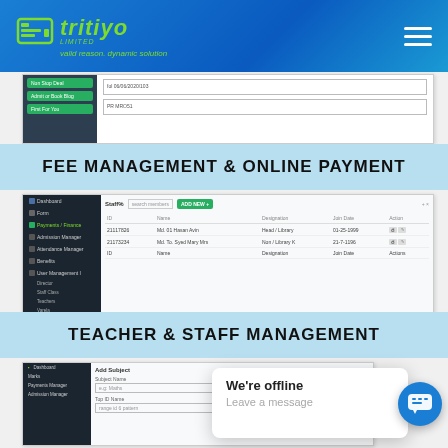[Figure (screenshot): Tritiyo Limited company logo and navigation header bar with blue gradient background, green logo icon, company name in green/white italic text, tagline 'valid reason. dynamic solution', and hamburger menu icon]
[Figure (screenshot): School management system fee management UI screenshot showing a dark sidebar with menu items and a form area with input fields]
FEE MANAGEMENT & ONLINE PAYMENT
[Figure (screenshot): School management system teacher and staff management UI screenshot showing a dark sidebar navigation and a staff list table with columns for ID, Name, Designation, Join Date, and Action, with an ADD NEW green button]
TEACHER & STAFF MANAGEMENT
[Figure (screenshot): Partial screenshot of school management system subject management page with sidebar and Add Subject form]
We're offline
Leave a message